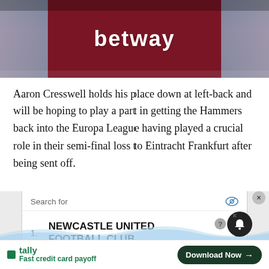[Figure (photo): West Ham United player wearing a claret and blue jersey with 'betway' sponsor text visible on the chest]
Aaron Cresswell holds his place down at left-back and will be hoping to play a part in getting the Hammers back into the Europa League having played a crucial role in their semi-final loss to Eintracht Frankfurt after being sent off.
[Figure (screenshot): Advertisement panel showing a 'Search for' widget with two results: 1. NEWCASTLE UNITED FOOTBALL CLUB and 2. MANCHESTER UNITED MEMORABILIA, with chevron arrows. Below is a Tally ad with 'Fast credit card payoff' and a 'Download Now' button.]